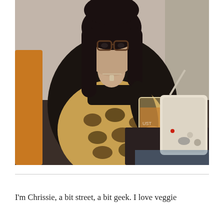[Figure (photo): A woman with dark hair and glasses wearing a black cardigan over a leopard print dress, holding a pint glass of beer. She is seated at a dark table with a cream/white handbag visible to her right. She is looking at the camera with a slight smile.]
I'm Chrissie, a bit street, a bit geek. I love veggie